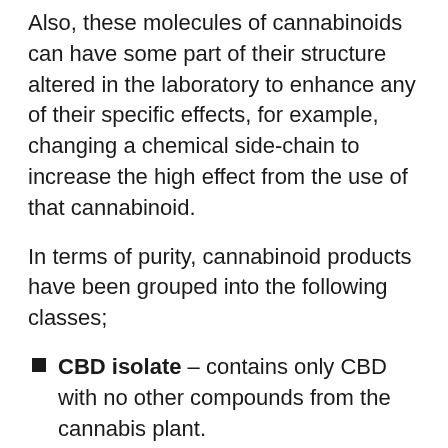Also, these molecules of cannabinoids can have some part of their structure altered in the laboratory to enhance any of their specific effects, for example, changing a chemical side-chain to increase the high effect from the use of that cannabinoid.
In terms of purity, cannabinoid products have been grouped into the following classes;
CBD isolate – contains only CBD with no other compounds from the cannabis plant.
Full-spectrum – includes all of the compounds found in marijuana plants,